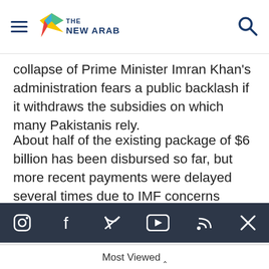The New Arab — navigation header with hamburger menu and search
collapse of Prime Minister Imran Khan's administration fears a public backlash if it withdraws the subsidies on which many Pakistanis rely.
About half of the existing package of $6 billion has been disbursed so far, but more recent payments were delayed several times due to IMF concerns about fiscal policy measures.
[Figure (other): Social media icons bar (Instagram, Facebook, Twitter, YouTube, RSS, X) on dark background]
receive more than $900 million, which will help unlock other external financing.
Tags:
Most Viewed ^